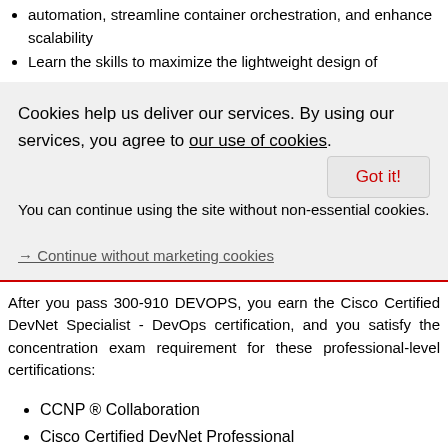automation, streamline container orchestration, and enhance scalability
Learn the skills to maximize the lightweight design of
Cookies help us deliver our services. By using our services, you agree to our use of cookies.
Got it!
You can continue using the site without non-essential cookies.
→ Continue without marketing cookies
After you pass 300-910 DEVOPS, you earn the Cisco Certified DevNet Specialist - DevOps certification, and you satisfy the concentration exam requirement for these professional-level certifications:
CCNP ® Collaboration
Cisco Certified DevNet Professional